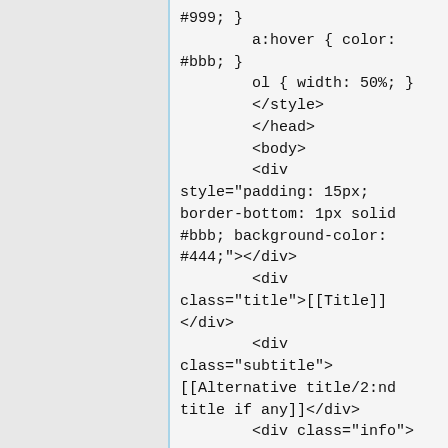#999; }
        a:hover { color: #bbb; }
        ol { width: 50%; }
        </style>
        </head>
        <body>
        <div style="padding: 15px; border-bottom: 1px solid #bbb; background-color: #444;"></div>
        <div class="title">[[Title]]</div>
        <div class="subtitle">[[Alternative title/2:nd title if any]]</div>
        <div class="info">

                <img src="[[Album art url]]" alt="albumart"/>
                <div